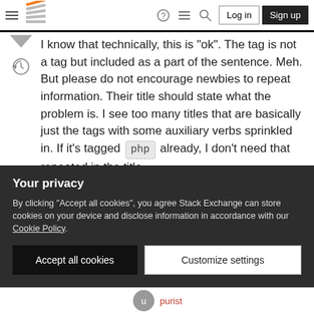Stack Exchange navigation bar with hamburger menu, logo, help, chat, search icons, Log in and Sign up buttons
I know that technically, this is "ok". The tag is not a tag but included as a part of the sentence. Meh. But please do not encourage newbies to repeat information. Their title should state what the problem is. I see too many titles that are basically just the tags with some auxiliary verbs sprinkled in. If it's tagged php already, I don't need that repeated in the title.
And while we are at it: I think questions should ask a question, so even if you don't want to implement
Your privacy
By clicking "Accept all cookies", you agree Stack Exchange can store cookies on your device and disclose information in accordance with our Cookie Policy.
Accept all cookies   Customize settings